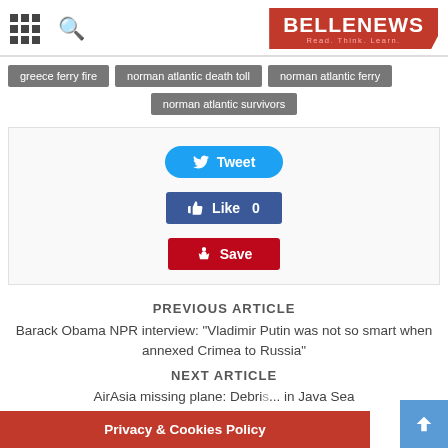BELLENEWS Read. Think. Learn.
greece ferry fire
norman atlantic death toll
norman atlantic ferry
norman atlantic survivors
[Figure (screenshot): Social sharing buttons: Tweet (Twitter), Like 0 (Facebook), Save (Pinterest)]
PREVIOUS ARTICLE
Barack Obama NPR interview: "Vladimir Putin was not so smart when annexed Crimea to Russia"
NEXT ARTICLE
AirAsia missing plane: Debri... in Java Sea
Privacy & Cookies Policy